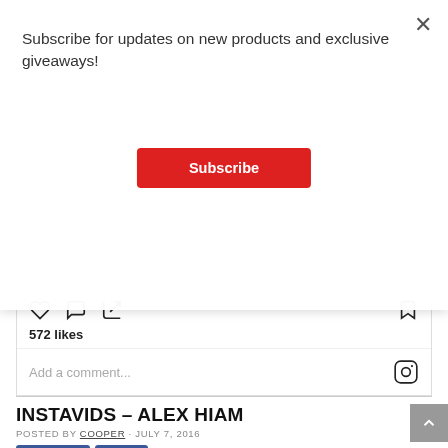Subscribe for updates on new products and exclusive giveaways!
Subscribe
[Figure (screenshot): Instagram post action bar showing heart, comment, share icons with 572 likes and a comment input field with Instagram logo]
INSTAVIDS – ALEX HIAM
POSTED BY COOPER - JULY 7, 2016
Like 0   Share
Alex Hiam is currently over in the UK and has been banging out some great clips so far. Follow him to keep up to date.
[Figure (screenshot): Bottom of a social media embed card showing a circular avatar icon]